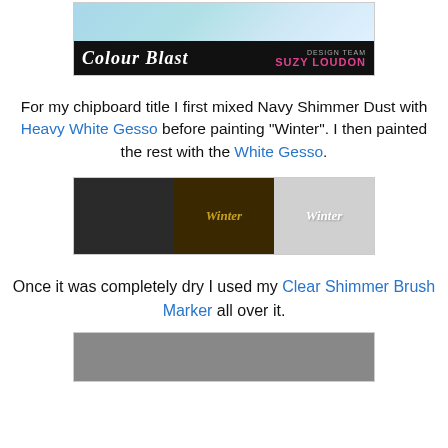[Figure (photo): Colour Blast banner with a teal/blue splatter image on top and a black bar below showing 'Colour Blast' in italic white text, with 'DESIGN TEAM SUZY LOUDON' in pink on the right.]
For my chipboard title I first mixed Navy Shimmer Dust with Heavy White Gesso before painting "Winter". I then painted the rest with the White Gesso.
[Figure (photo): Three-panel step-by-step photo showing craft supplies and the process of painting a 'Winter' chipboard title with white gesso and shimmer dust.]
Once it was completely dry I used my Clear Shimmer Brush Marker all over it.
[Figure (photo): Photo showing a gray surface or completed chipboard piece.]